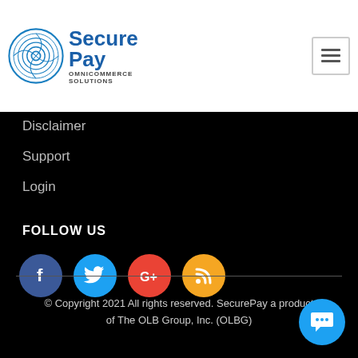[Figure (logo): SecurePay Omnicommerce Solutions logo with fingerprint icon]
Disclaimer
Support
Login
FOLLOW US
[Figure (infographic): Social media icons: Facebook (blue circle), Twitter (light blue circle), Google+ (red circle), RSS (yellow circle)]
© Copyright 2021 All rights reserved. SecurePay a product of The OLB Group, Inc. (OLBG)